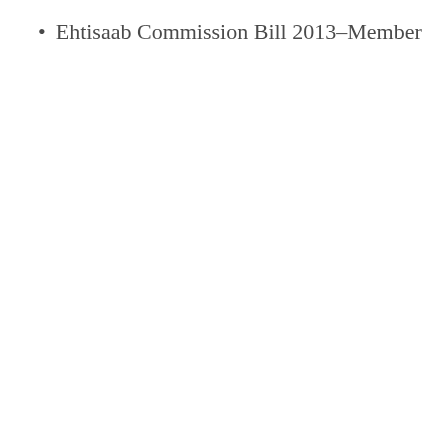Ehtisaab Commission Bill 2013–Member